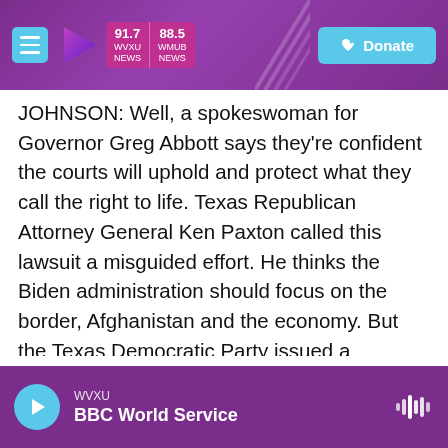WVXU 91.7 NEWS | WMUB 88.5 NEWS | Donate
JOHNSON: Well, a spokeswoman for Governor Greg Abbott says they're confident the courts will uphold and protect what they call the right to life. Texas Republican Attorney General Ken Paxton called this lawsuit a misguided effort. He thinks the Biden administration should focus on the border, Afghanistan and the economy. But the Texas Democratic Party issued a statement to support the Justice Department, saying this abortion ban in the state is, quote, "uniquely harmful, exceptionally cruel and blatantly unconstitutional."
WVXU | BBC World Service